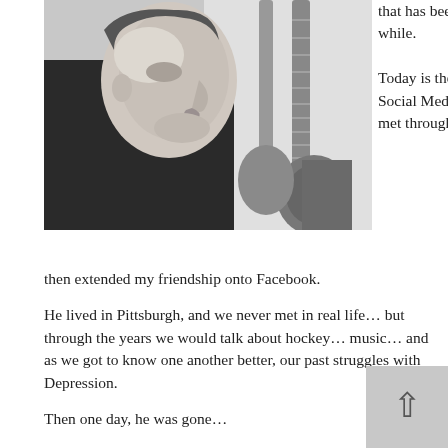[Figure (photo): Black and white photograph of a person in profile view, with a guitar visible in the background]
that has been troubling me for a while.

Today is the Birthday of a Social Media friend, who I first met through Twitter, and then extended my friendship onto Facebook.
He lived in Pittsburgh, and we never met in real life… but through the years we would talk about hockey… music… and as we got to know one another better, our past struggles with Depression.
Then one day, he was gone…